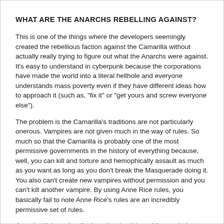WHAT ARE THE ANARCHS REBELLING AGAINST?
This is one of the things where the developers seemingly created the rebellious faction against the Camarilla without actually really trying to figure out what the Anarchs were against. It's easy to understand in cyberpunk because the corporations have made the world into a literal hellhole and everyone understands mass poverty even if they have different ideas how to approach it (such as, "fix it" or "get yours and screw everyone else").
The problem is the Camarilla's traditions are not particularly onerous. Vampires are not given much in the way of rules. So much so that the Camarilla is probably one of the most permissive governments in the history of everything because, well, you can kill and torture and hemophically assault as much as you want as long as you don't break the Masquerade doing it. You also can't create new vampires without permission and you can't kill another vampire. By using Anne Rice rules, you basically fail to note Anne Rice's rules are an incredibly permissive set of rules.
Anarchs Unbound sadly doesn't solve this problem and tries to handle it the wrong way by saying that most Anarchs just want to be able to create and feed where they want. Not exactly the most sympathetic motivations really and it's hard to believe that such would create a centuries-long blood feud between the various Generations of vampires. It also contributes to the feeling of the Anarchs as a bunch of spoiled children since I think most players can agree that more vampires=more trouble for everyone. Domain was also de-emphasized